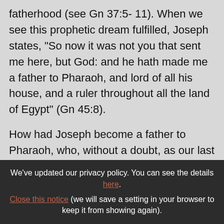fatherhood (see Gn 37:5- 11). When we see this prophetic dream fulfilled, Joseph states, "So now it was not you that sent me here, but God: and he hath made me a father to Pharaoh, and lord of all his house, and a ruler throughout all the land of Egypt" (Gn 45:8).
How had Joseph become a father to Pharaoh, who, without a doubt, as our last discourse has proved, was in fact a father to Joseph? Biblically speaking, the one who feeds you is
We've updated our privacy policy. You can see the details here. Close this notice (we will save a setting in your browser to keep it from showing again).